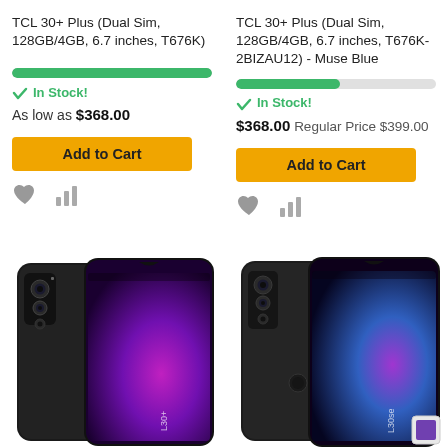TCL 30+ Plus (Dual Sim, 128GB/4GB, 6.7 inches, T676K)
In Stock!
As low as $368.00
Add to Cart
TCL 30+ Plus (Dual Sim, 128GB/4GB, 6.7 inches, T676K-2BIZAU12) - Muse Blue
In Stock!
$368.00 Regular Price $399.00
Add to Cart
[Figure (photo): TCL 30+ smartphone showing back panel with triple camera and front screen with purple gradient wallpaper]
[Figure (photo): TCL 30+ Plus smartphone in Muse Blue showing front and back view with purple/blue wallpaper]